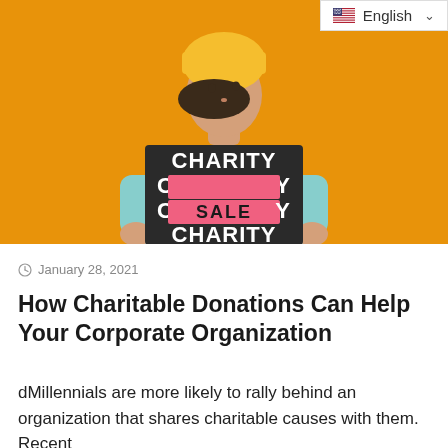[Figure (photo): Woman with short dark hair wearing a yellow beanie hat and light blue hoodie, holding a cardboard sign with CHARITY written repeatedly and a pink rectangle in the center reading SALE, against an orange/amber background.]
English
January 28, 2021
How Charitable Donations Can Help Your Corporate Organization
dMillennials are more likely to rally behind an organization that shares charitable causes with them. Recent